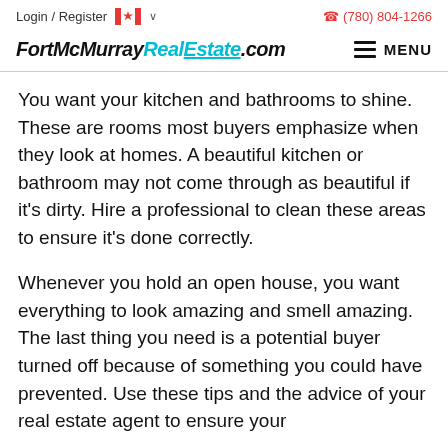Login / Register   (780) 804-1266
FortMcMurrayRealEstate.com
You want your kitchen and bathrooms to shine. These are rooms most buyers emphasize when they look at homes. A beautiful kitchen or bathroom may not come through as beautiful if it's dirty. Hire a professional to clean these areas to ensure it's done correctly.
Whenever you hold an open house, you want everything to look amazing and smell amazing. The last thing you need is a potential buyer turned off because of something you could have prevented. Use these tips and the advice of your real estate agent to ensure your